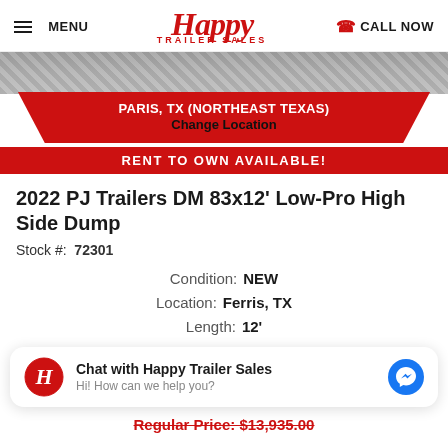MENU | Happy Trailer Sales | CALL NOW
PARIS, TX (NORTHEAST TEXAS)
Change Location
[Figure (photo): Trailer image partially visible behind location banner]
RENT TO OWN AVAILABLE!
2022 PJ Trailers DM 83x12' Low-Pro High Side Dump
Stock #: 72301
Condition: NEW
Location: Ferris, TX
Length: 12'
Chat with Happy Trailer Sales
Hi! How can we help you?
Regular Price: $13,935.00